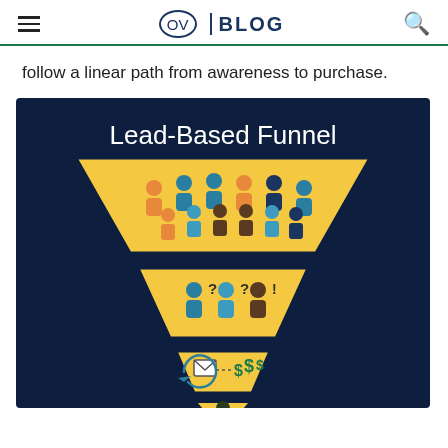OV | BLOG
follow a linear path from awareness to purchase.
[Figure (infographic): Lead-Based Funnel infographic on dark navy background. A funnel shape in golden/yellow color shows multiple stages. Top stage has many colorful person icons (orange, teal, dark blue, brown). Middle stage has fewer person icons with question marks and exclamation mark. Lower stage shows email and phone icons with dollar signs ($$$). Bottom tip shows a single dark person icon. Title text reads 'Lead-Based Funnel' in white.]